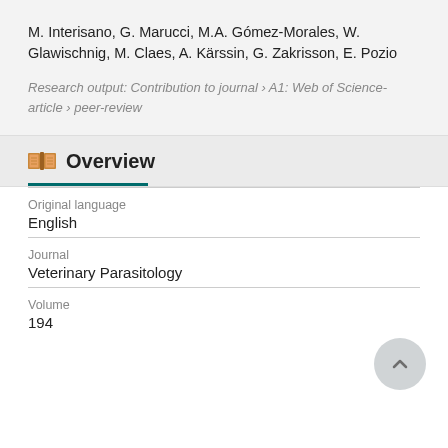M. Interisano, G. Marucci, M.A. Gómez-Morales, W. Glawischnig, M. Claes, A. Kärssin, G. Zakrisson, E. Pozio
Research output: Contribution to journal › A1: Web of Science-article › peer-review
Overview
| Field | Value |
| --- | --- |
| Original language | English |
| Journal | Veterinary Parasitology |
| Volume | 194 |